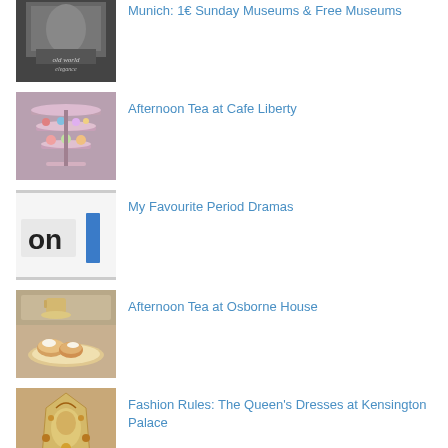Munich: 1€ Sunday Museums & Free Museums
Afternoon Tea at Cafe Liberty
My Favourite Period Dramas
Afternoon Tea at Osborne House
Fashion Rules: The Queen's Dresses at Kensington Palace